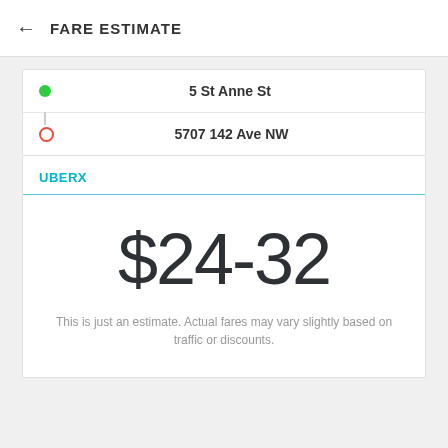← FARE ESTIMATE
5 St Anne St
5707 142 Ave NW
UBERX
$24-32
This is just an estimate. Actual fares may vary slightly based on traffic or discounts.